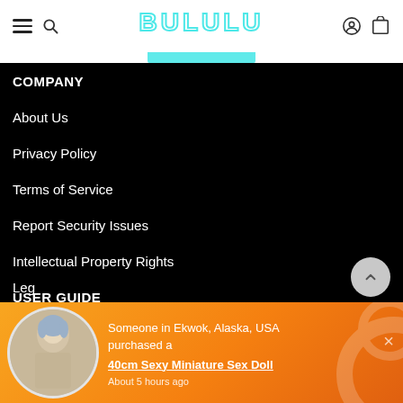BULULU
COMPANY
About Us
Privacy Policy
Terms of Service
Report Security Issues
Intellectual Property Rights
USER GUIDE
Leg...
Someone in Ekwok, Alaska, USA purchased a 40cm Sexy Miniature Sex Doll About 5 hours ago